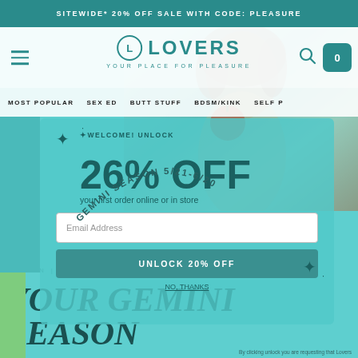SITEWIDE* 20% OFF SALE WITH CODE: PLEASURE
[Figure (screenshot): Lovers adult store website navigation bar with logo, hamburger menu, search icon, cart icon, and category nav including MOST POPULAR, SEX ED, BUTT STUFF, BDSM/KINK, SELF P...]
[Figure (photo): Person holding an apple, with curly hair, overlaid with website content]
[Figure (infographic): Popup modal offering 26% OFF first order online or in store during Gemini Season 5/21-6/20, with email input field and UNLOCK 20% OFF button]
YOUR GEMINI SEASON
BY RAIN | MAY 19, 2021
NO, THANKS
By clicking unlock you are requesting that Lovers